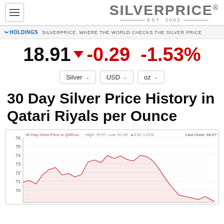[Figure (logo): SilverPrice.org logo with hamburger menu icon, EST. 2002]
HOLDINGS   SILVERPRICE. WHERE THE WORLD CHECKS THE SILVER PRICE
18.91 ▼ -0.29 -1.53%
Silver | USD | oz (dropdowns)
30 Day Silver Price History in Qatari Riyals per Ounce
[Figure (line-chart): 30-day silver price line chart in QAR per oz. High: 75.57, Low: 67.85, change: +0.82, 1.21%. Last Close: 68.67. Y-axis from 70 to 76. Line shows prices rising from ~72 to peak ~75.5, then declining to ~68-70.]